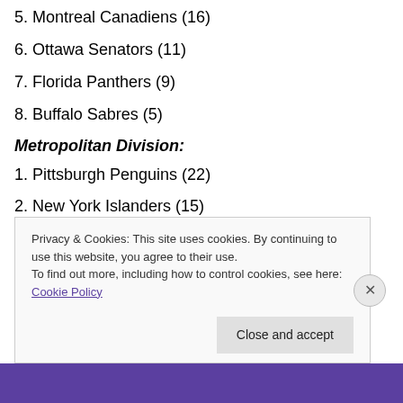5. Montreal Canadiens (16)
6. Ottawa Senators (11)
7. Florida Panthers (9)
8. Buffalo Sabres (5)
Metropolitan Division:
1. Pittsburgh Penguins (22)
2. New York Islanders (15)
3. Washington Capitals (14)
4. New York Rangers (12)
5. Carolina Hurricanes (11)
Privacy & Cookies: This site uses cookies. By continuing to use this website, you agree to their use. To find out more, including how to control cookies, see here: Cookie Policy
Close and accept